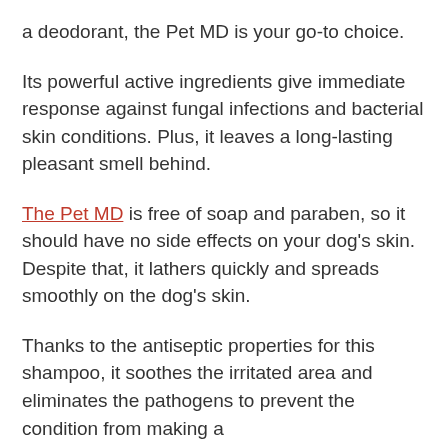a deodorant, the Pet MD is your go-to choice.
Its powerful active ingredients give immediate response against fungal infections and bacterial skin conditions. Plus, it leaves a long-lasting pleasant smell behind.
The Pet MD is free of soap and paraben, so it should have no side effects on your dog's skin. Despite that, it lathers quickly and spreads smoothly on the dog's skin.
Thanks to the antiseptic properties for this shampoo, it soothes the irritated area and eliminates the pathogens to prevent the condition from making a